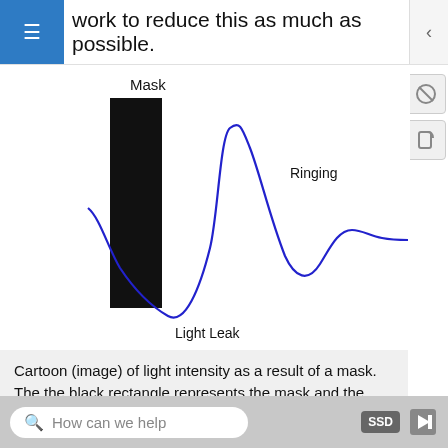work to reduce this as much as possible.
[Figure (continuous-plot): Cartoon diagram of light intensity as a result of a mask. A black rectangle on the left represents the mask. A blue curve starts at the bottom left under the mask (labeled 'Light Leak'), rises sharply to a high peak to the right of the mask edge (labeled 'Ringing'), then oscillates with decreasing amplitude settling to a steady value. Labels: 'Mask' above the black rectangle, 'Ringing' pointing to the first peak, 'Light Leak' pointing to the dip at the base of the curve near the mask edge.]
Cartoon (image) of light intensity as a result of a mask. The the black rectangle represents the mask and the cartoon shows how light looks under the mask (not
How can we help